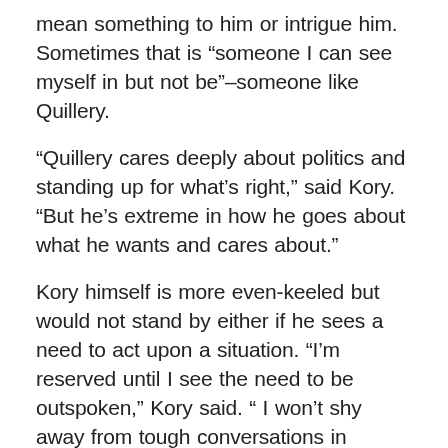mean something to him or intrigue him. Sometimes that is “someone I can see myself in but not be”–someone like Quillery.
“Quillery cares deeply about politics and standing up for what’s right,” said Kory. “But he’s extreme in how he goes about what he wants and cares about.”
Kory himself is more even-keeled but would not stand by either if he sees a need to act upon a situation. “I’m reserved until I see the need to be outspoken,” Kory said. “ I won’t shy away from tough conversations in matters of right and wrong. I have